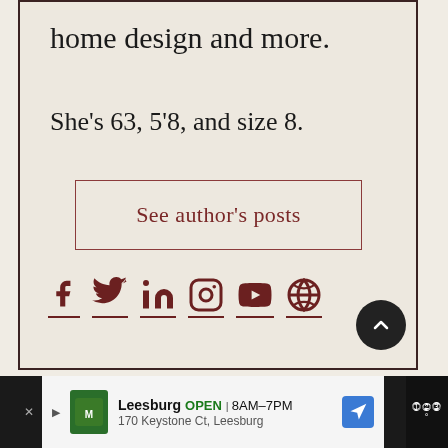home design and more.
She's 63, 5'8, and size 8.
See author's posts
[Figure (infographic): Social media icons row: Facebook, Twitter, LinkedIn, Instagram, YouTube, Globe/Web]
[Figure (infographic): Scroll-to-top button (dark circle with up chevron)]
Leesburg OPEN 8AM–7PM 170 Keystone Ct, Leesburg